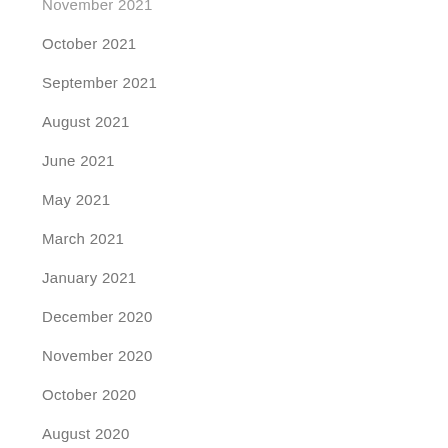November 2021
October 2021
September 2021
August 2021
June 2021
May 2021
March 2021
January 2021
December 2020
November 2020
October 2020
August 2020
July 2020